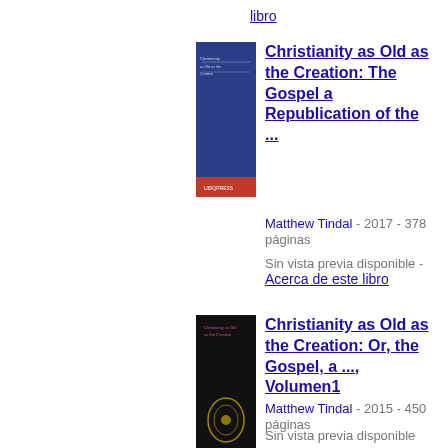libro
[Figure (illustration): Book cover of Christianity as Old as the Creation: The Gospel a Republication of the... - blue cover with text]
Christianity as Old as the Creation: The Gospel a Republication of the ...
Matthew Tindal - 2017 - 378 páginas
Sin vista previa disponible - Acerca de este libro
[Figure (illustration): Book cover of Christianity as Old as the Creation: Or, the Gospel, a ..., Volumen1 - black cover with gold laurel wreath]
Christianity as Old as the Creation: Or, the Gospel, a ..., Volumen1
Matthew Tindal - 2015 - 450 páginas
Sin vista previa disponible